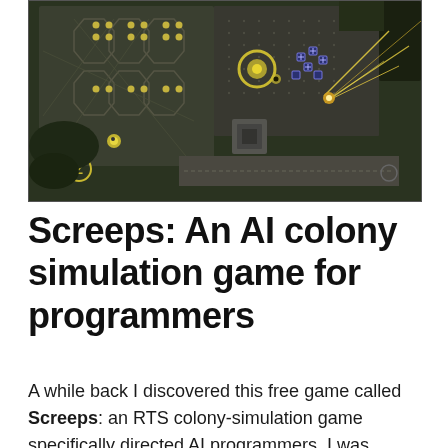[Figure (screenshot): Screenshot of the Screeps game — a top-down RTS colony simulation showing a dark green/grey map with hexagonal and octagonal room tiles, yellow glowing resource nodes, small dark blue creep units with plus markers, a yellow circular spawn structure, a grey structure in the center, yellow laser/energy beams firing toward the right side, and a 'Z' marker circle in the lower left.]
Screeps: An AI colony simulation game for programmers
A while back I discovered this free game called Screeps: an RTS colony-simulation game specifically directed AI programmers. I was immediately